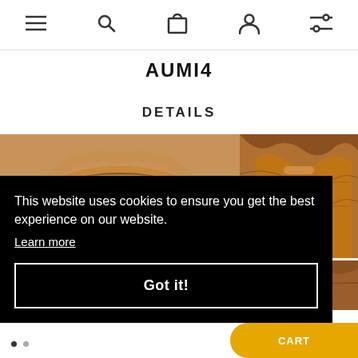Navigation bar with menu, search, bag, account, and filter icons
AUMI4
DETAILS
[Figure (photo): Two product photos of a brown leather bucket bag showing interior lining details — a large left image and two smaller stacked images on the right]
This website uses cookies to ensure you get the best experience on our website.
Learn more
Got it!
ADD TO CART